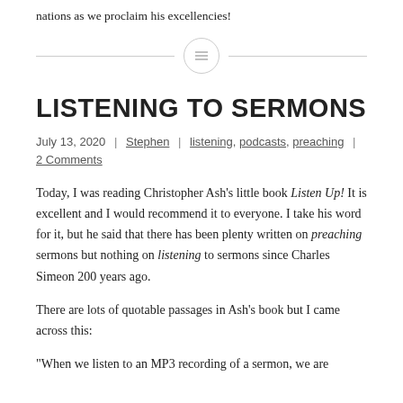nations as we proclaim his excellencies!
[Figure (illustration): Horizontal divider with a circle icon containing three lines (menu/text icon) in the center]
LISTENING TO SERMONS
July 13, 2020 | Stephen | listening, podcasts, preaching | 2 Comments
Today, I was reading Christopher Ash's little book Listen Up! It is excellent and I would recommend it to everyone. I take his word for it, but he said that there has been plenty written on preaching sermons but nothing on listening to sermons since Charles Simeon 200 years ago.
There are lots of quotable passages in Ash's book but I came across this:
“When we listen to an MP3 recording of a sermon, we are